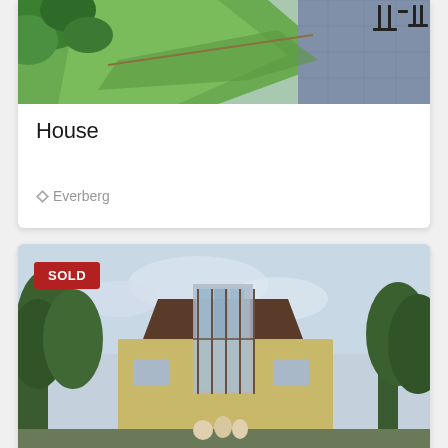[Figure (photo): Outdoor garden and terrace photo showing green plants, lawn, and a paved patio area with chairs]
House
◄ Everberg
[Figure (photo): Exterior photo of a modern house with brick and glass facade, surrounded by trees. A red SOLD badge is overlaid in the top-left corner.]
SOLD